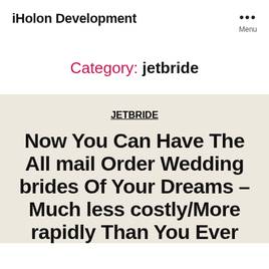iHolon Development
Category: jetbride
JETBRIDE
Now You Can Have The All mail Order Wedding brides Of Your Dreams – Much less costly/More rapidly Than You Ever